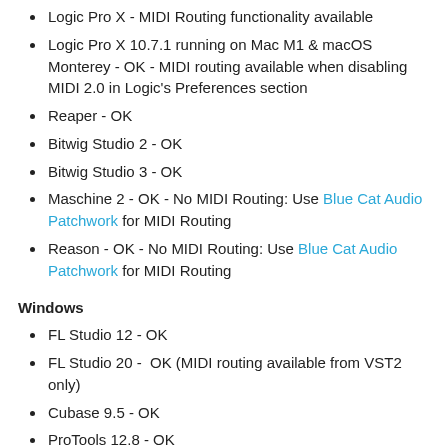Logic Pro X - MIDI Routing functionality available
Logic Pro X 10.7.1 running on Mac M1 & macOS Monterey - OK - MIDI routing available when disabling MIDI 2.0 in Logic's Preferences section
Reaper - OK
Bitwig Studio 2 - OK
Bitwig Studio 3 - OK
Maschine 2 - OK - No MIDI Routing: Use Blue Cat Audio Patchwork for MIDI Routing
Reason - OK - No MIDI Routing: Use Blue Cat Audio Patchwork for MIDI Routing
Windows
FL Studio 12 - OK
FL Studio 20 -  OK (MIDI routing available from VST2 only)
Cubase 9.5 - OK
ProTools 12.8 - OK
Studio One 3 - OK